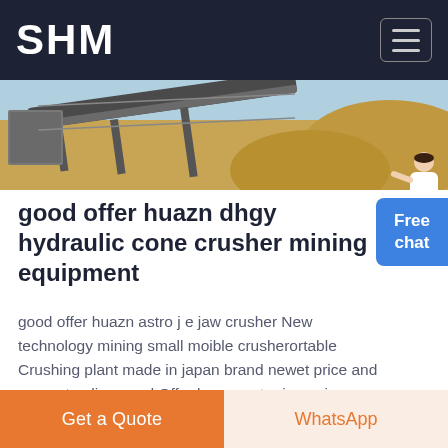SHM
[Figure (photo): Industrial mining equipment / conveyor belt and sand stockpile viewed from above]
good offer huazn dhgy hydraulic cone crusher mining equipment
good offer huazn astro j e jaw crusher New technology mining small moible crusherortable Crushing plant made in japan brand newet price and support online good Offer huazn astro j e series new technology jaw Crusher n japancrushed rock stone crusher japan Technology price for mobile stone crushers in
Free chat
Get a Quote
WhatsApp